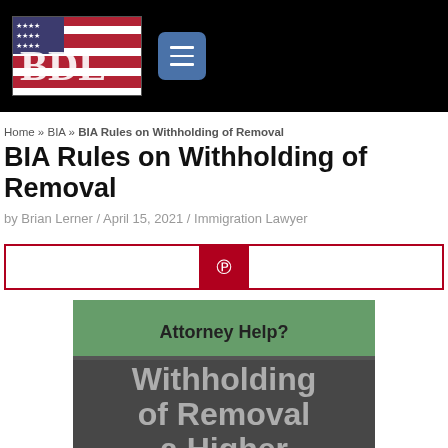BDL Logo and navigation menu
Home » BIA » BIA Rules on Withholding of Removal
BIA Rules on Withholding of Removal
by Brian Lerner / April 15, 2021 / Immigration Lawyer
[Figure (infographic): Social share bar with Pinterest button in center, bordered in dark red/crimson]
[Figure (photo): Article feature image showing text 'Attorney Help? Withholding of Removal a Higher' overlaid on a dark/grey background with a person in a suit and green accent at top]